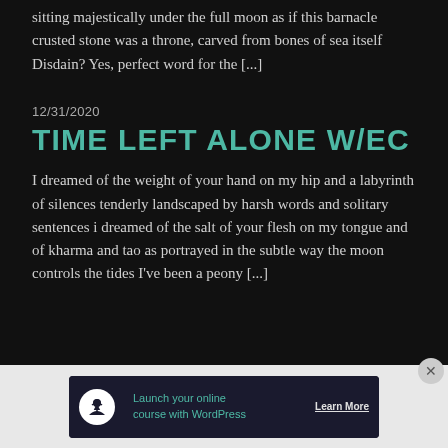sitting majestically under the full moon as if this barnacle crusted stone was a throne, carved from bones of sea itself Disdain? Yes, perfect word for the [...]
12/31/2020
TIME LEFT ALONE W/EC
I dreamed of the weight of your hand on my hip and a labyrinth of silences tenderly landscaped by harsh words and solitary sentences i dreamed of the salt of your flesh on my tongue and of kharma and tao as portrayed in the subtle way the moon controls the tides I've been a peony [...]
[Figure (infographic): Advertisement banner: dark navy background with white circle icon containing a person/tree silhouette, teal text 'Launch your online course with WordPress', and a 'Learn More' button with underline]